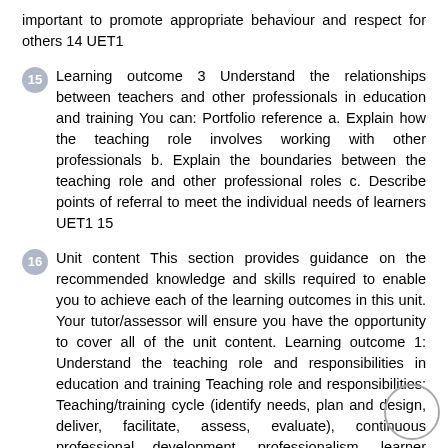important to promote appropriate behaviour and respect for others 14 UET1
15 Learning outcome 3 Understand the relationships between teachers and other professionals in education and training You can: Portfolio reference a. Explain how the teaching role involves working with other professionals b. Explain the boundaries between the teaching role and other professional roles c. Describe points of referral to meet the individual needs of learners UET1 15
16 Unit content This section provides guidance on the recommended knowledge and skills required to enable you to achieve each of the learning outcomes in this unit. Your tutor/assessor will ensure you have the opportunity to cover all of the unit content. Learning outcome 1: Understand the teaching role and responsibilities in education and training Teaching role and responsibilities: Teaching/training cycle (identify needs, plan and design, deliver, facilitate, assess, evaluate), continuous professional development, professionalism, learner reviews, language, literacy, numeracy and ICT skill, liaison